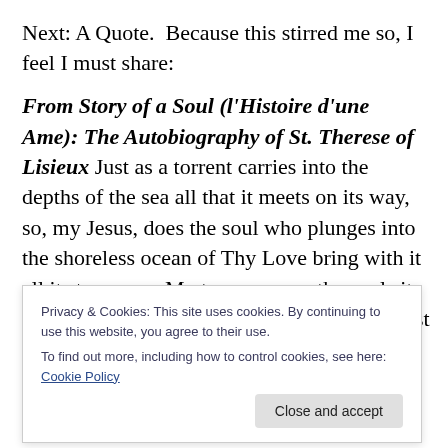Next: A Quote.  Because this stirred me so, I feel I must share:
From Story of a Soul (l'Histoire d'une Ame): The Autobiography of St. Therese of Lisieux Just as a torrent carries into the depths of the sea all that it meets on its way, so, my Jesus, does the soul who plunges into the shoreless ocean of Thy Love bring with it all its treasures. My treasures are the souls it has pleased thee to unite with mine; Thou hast confided them to me, and therefore I do not fear to use Thy own words, uttered by
Privacy & Cookies: This site uses cookies. By continuing to use this website, you agree to their use.
To find out more, including how to control cookies, see here: Cookie Policy
Close and accept
then I shall be able to say:  I have glorified Thee upon